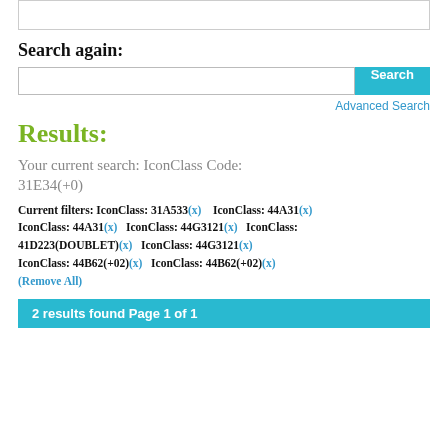[top search box area]
Search again:
[search input and Search button]
Advanced Search
Results:
Your current search: IconClass Code: 31E34(+0)
Current filters: IconClass: 31A533(x)   IconClass: 44A31(x) IconClass: 44A31(x)   IconClass: 44G3121(x)   IconClass: 41D223(DOUBLET)(x)   IconClass: 44G3121(x) IconClass: 44B62(+02)(x)   IconClass: 44B62(+02)(x) (Remove All)
2 results found Page 1 of 1